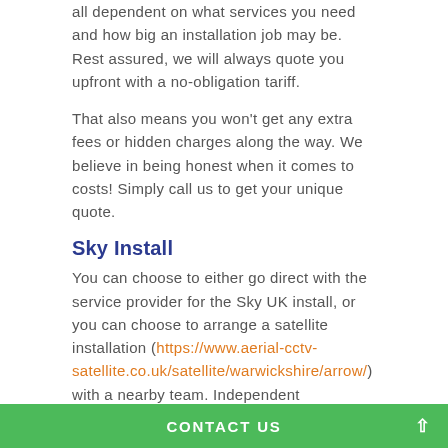all dependent on what services you need and how big an installation job may be. Rest assured, we will always quote you upfront with a no-obligation tariff.
That also means you won't get any extra fees or hidden charges along the way. We believe in being honest when it comes to costs! Simply call us to get your unique quote.
Sky Install
You can choose to either go direct with the service provider for the Sky UK install, or you can choose to arrange a satellite installation (https://www.aerial-cctv-satellite.co.uk/satellite/warwickshire/arrow/) with a nearby team. Independent installation is recommended for many reasons. For one, you get access to an incredible amount of dedicated knowledge and experience.
Their engineers often have plenty to do on any given day – whereas our team always take the time to book you in for a slot long enough to get everything up and running.
CONTACT US